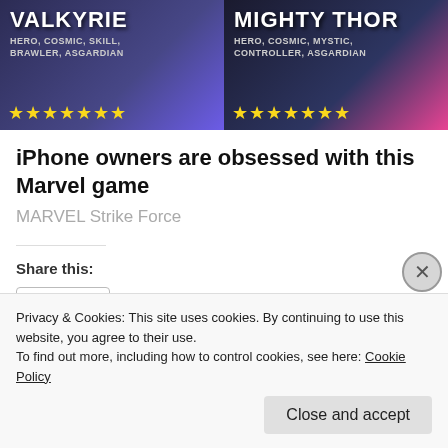[Figure (screenshot): Game advertisement banner showing two Marvel characters: VALKYRIE (HERO, COSMIC, SKILL, BRAWLER, ASGARDIAN) with 7 gold stars on the left, and MIGHTY THOR (HERO, COSMIC, MYSTIC, CONTROLLER, ASGARDIAN) with 7 gold stars on the right. Dark fantasy game art background.]
iPhone owners are obsessed with this Marvel game
MARVEL Strike Force
Share this:
Share
Loading...
Privacy & Cookies: This site uses cookies. By continuing to use this website, you agree to their use.
To find out more, including how to control cookies, see here: Cookie Policy
Close and accept